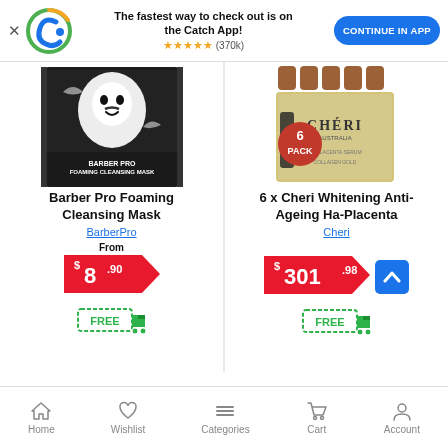[Figure (screenshot): Catch app promotional banner with Catch logo, star rating (370k reviews), and 'CONTINUE IN APP' button]
[Figure (photo): Barber Pro Foaming Cleansing Mask product image]
Barber Pro Foaming Cleansing Mask
BarberPro
From
$8.90
[Figure (infographic): FREE delivery truck icon badge]
[Figure (photo): 6 x Cheri Whitening Anti-Ageing Ha-Placenta serum product image with 6 PACK badge]
6 x Cheri Whitening Anti-Ageing Ha-Placenta
Cheri
$301.98
[Figure (infographic): FREE delivery truck icon badge]
Home  Wishlist  Categories  Cart  Account